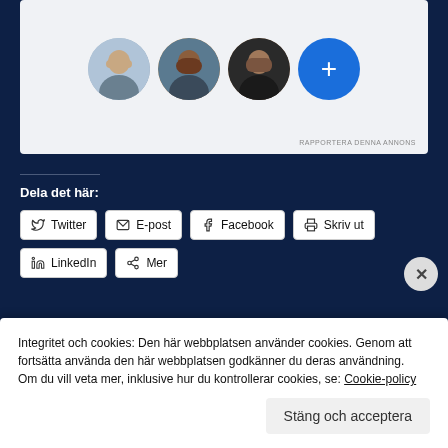[Figure (screenshot): LinkedIn-style ad box with three circular profile photos of people and a blue plus button circle, with 'RAPPORTERA DENNA ANNONS' link at bottom right]
RAPPORTERA DENNA ANNONS
Dela det här:
Twitter
E-post
Facebook
Skriv ut
LinkedIn
Mer
Integritet och cookies: Den här webbplatsen använder cookies. Genom att fortsätta använda den här webbplatsen godkänner du deras användning.
Om du vill veta mer, inklusive hur du kontrollerar cookies, se: Cookie-policy
Stäng och acceptera